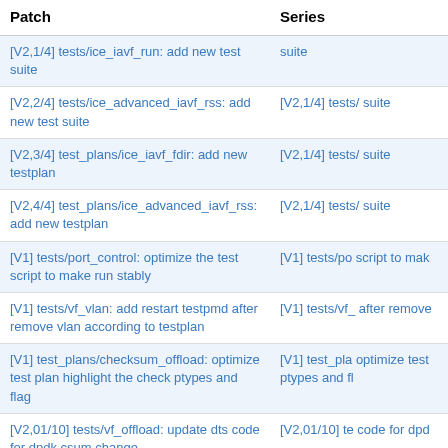| Patch | Series |
| --- | --- |
| [V2,1/4] tests/ice_iavf_run: add new test suite | suite |
| [V2,2/4] tests/ice_advanced_iavf_rss: add new test suite | [V2,1/4] tests/ suite |
| [V2,3/4] test_plans/ice_iavf_fdir: add new testplan | [V2,1/4] tests/ suite |
| [V2,4/4] test_plans/ice_advanced_iavf_rss: add new testplan | [V2,1/4] tests/ suite |
| [V1] tests/port_control: optimize the test script to make run stably | [V1] tests/po script to mak |
| [V1] tests/vf_vlan: add restart testpmd after remove vlan according to testplan | [V1] tests/vf_ after remove |
| [V1] test_plans/checksum_offload: optimize test plan highlight the check ptypes and flag | [V1] test_pla optimize test ptypes and fl |
| [V2,01/10] tests/vf_offload: update dts code for dpdk csum change | [V2,01/10] te code for dpd |
| [V2,02/10] test_plans/vf_offload: update dts code for dpdk csum change | [V2,01/10] te code for dpd |
| [V2,03/10] tests/checksum_offload: update dts code for dpdk csum change | [V2,01/10] te code for dp |